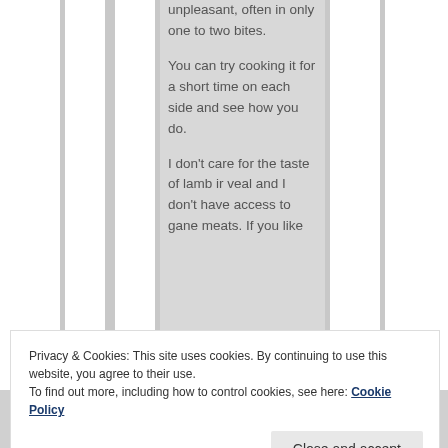unpleasant, often in only one to two bites.

You can try cooking it for a short time on each side and see how you do.

I don't care for the taste of lamb ir veal and I don't have access to gane meats. If you like
Privacy & Cookies: This site uses cookies. By continuing to use this website, you agree to their use.
To find out more, including how to control cookies, see here: Cookie Policy